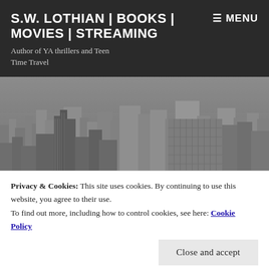S.W. LOTHIAN | BOOKS | MOVIES | STREAMING
Author of YA thrillers and Teen Time Travel
[Figure (photo): Black and white aerial cityscape photograph of a dense urban skyline with skyscrapers, with overlaid text 'YA BLOG TOUR ◆ YOUNG KNIGHTS']
YA BLOG TOUR ◆ YOUNG KNIGHTS
Privacy & Cookies: This site uses cookies. By continuing to use this website, you agree to their use.
To find out more, including how to control cookies, see here: Cookie Policy
Close and accept